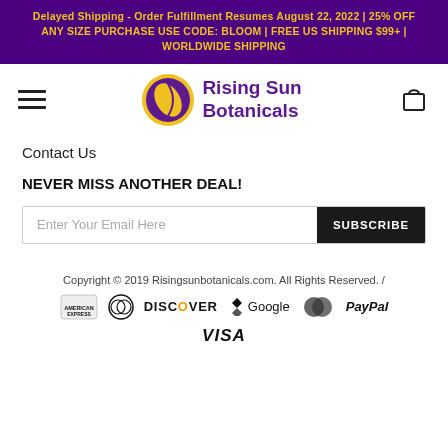Delayed Shipping - Order Fulfillment Resumes August 22, 2022 | 25% OFF ANY SIZE PURCHASE USE CODE: BLOOM | FREE US SHIPPING $99+ | WORLDWIDE SHIPPING
[Figure (logo): Rising Sun Botanicals logo with purple circle, yellow leaf, and purple text]
Contact Us
NEVER MISS ANOTHER DEAL!
Enter Your Email Here [SUBSCRIBE button]
Copyright © 2019 Risingsunbotanicals.com. All Rights Reserved. /
[Figure (other): Payment icons: American Express, Diners Club, Discover, Google Pay, Mastercard, PayPal, Visa]